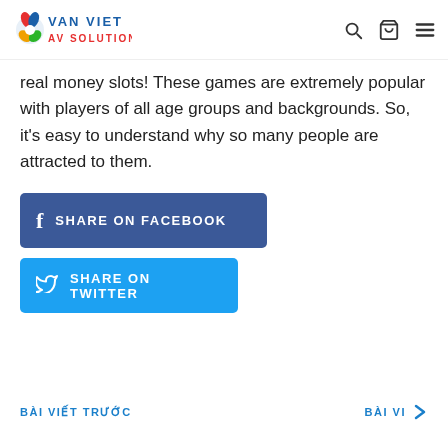VAN VIET AV SOLUTION
real money slots! These games are extremely popular with players of all age groups and backgrounds. So, it's easy to understand why so many people are attracted to them.
[Figure (other): Blue Facebook share button with 'f' icon and text 'SHARE ON FACEBOOK']
[Figure (other): Cyan Twitter share button with bird icon and text 'SHARE ON TWITTER']
BÀI VIẾT TRƯỚC
BÀI VI